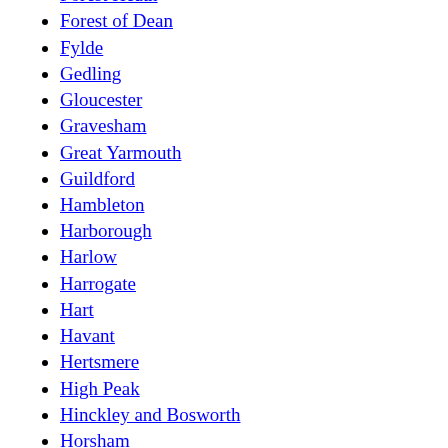Fenland
Forest Heath
Forest of Dean
Fylde
Gedling
Gloucester
Gravesham
Great Yarmouth
Guildford
Hambleton
Harborough
Harlow
Harrogate
Hart
Havant
Hertsmere
High Peak
Hinckley and Bosworth
Horsham
Huntingdonshire
Hyndburn
Ipswich
Kettering
King's Lynn and West Norfolk
Lancaster